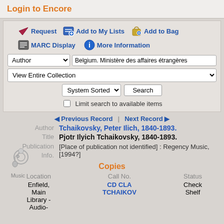Login to Encore
[Figure (screenshot): Library catalog interface with action buttons: Request, Add to My Lists, Add to Bag, MARC Display, More Information]
Author | Belgium. Ministère des affaires étrangères
View Entire Collection
System Sorted | Search
Limit search to available items
◄ Previous Record | Next Record ►
Author Tchaikovsky, Peter Ilich, 1840-1893.
Title Pjotr Ilyich Tchaikovsky, 1840-1893.
Publication Info. [Place of publication not identified] : Regency Music, [1994?]
Copies
| Location | Call No. | Status |
| --- | --- | --- |
| Enfield, Main Library - Audio- | CD CLA TCHAIKOV | Check Shelf |